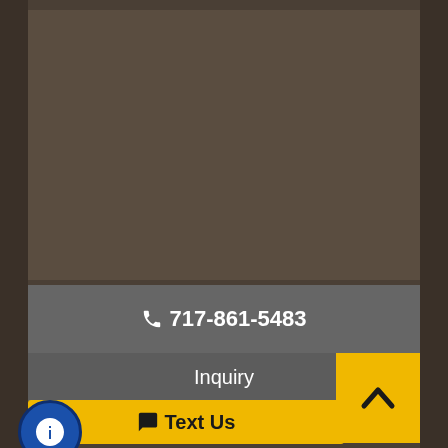[Figure (screenshot): Dark brown background area representing a webpage screenshot with left and right dark border strips]
717-861-5483
Inquiry
Text Us
Text Us